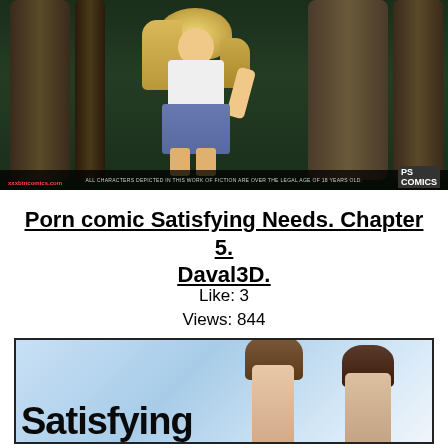[Figure (illustration): 3D rendered illustration showing a blonde female figure in a forest setting with large tree trunks, wearing white top and denim shorts. Bottom bar reads website name and disclaimer text, with PS Comics logo.]
Porn comic Satisfying Needs. Chapter 5. Daval3D.
Like: 3
Views: 844
[Figure (illustration): 3D rendered comic book cover showing two female figures with dark hair against a light blue background, with large bold text reading 'Satisfying' at the bottom.]